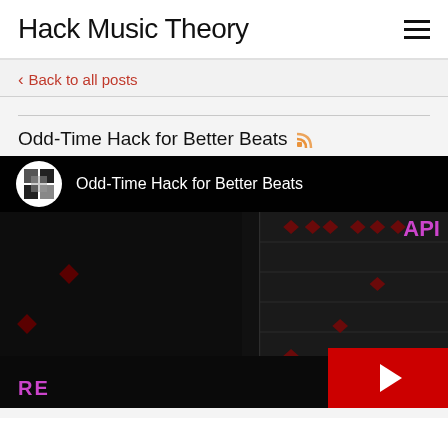Hack Music Theory
Back to all posts
Odd-Time Hack for Better Beats
[Figure (screenshot): YouTube video thumbnail for 'Odd-Time Hack for Better Beats' showing a black background with red diamond shapes and a sequencer/music grid on the right side, with a YouTube play button in the bottom right corner.]